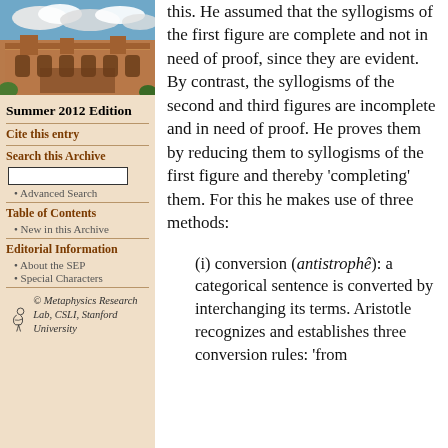[Figure (photo): Photo of a historic sandstone university building (likely University of Sydney) with blue sky and clouds]
Summer 2012 Edition
Cite this entry
Search this Archive
Advanced Search
Table of Contents
New in this Archive
Editorial Information
About the SEP
Special Characters
© Metaphysics Research Lab, CSLI, Stanford University
this. He assumed that the syllogisms of the first figure are complete and not in need of proof, since they are evident. By contrast, the syllogisms of the second and third figures are incomplete and in need of proof. He proves them by reducing them to syllogisms of the first figure and thereby 'completing' them. For this he makes use of three methods:
(i) conversion (antistrophê): a categorical sentence is converted by interchanging its terms. Aristotle recognizes and establishes three conversion rules: 'from